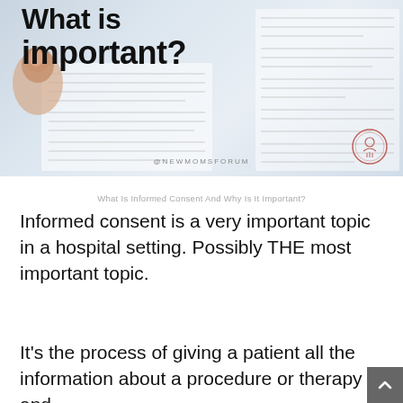[Figure (photo): Photo-style infographic card showing bold text 'What is important?' with blurred document lines, a finger pointing, and @NEWMOMSFORUM watermark with circular logo]
What Is Informed Consent And Why Is It Important?
Informed consent is a very important topic in a hospital setting. Possibly THE most important topic.
It's the process of giving a patient all the information about a procedure or therapy and